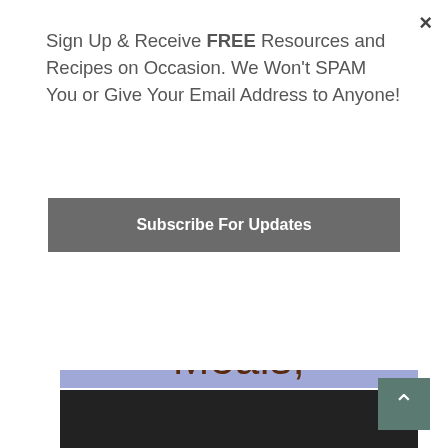Sign Up & Receive FREE Resources and Recipes on Occasion. We Won't SPAM You or Give Your Email Address to Anyone!
Subscribe For Updates
[Figure (illustration): Light blue/purple banner image with large brown text reading 'Plant-Based Meals, Delivered.']
×
^